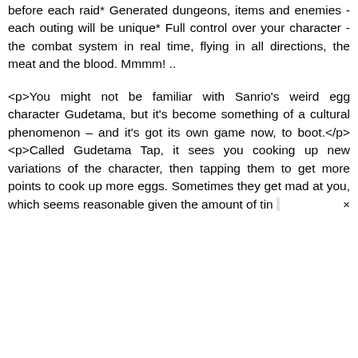before each raid* Generated dungeons, items and enemies - each outing will be unique* Full control over your character - the combat system in real time, flying in all directions, the meat and the blood. Mmmm! ..
<p>You might not be familiar with Sanrio's weird egg character Gudetama, but it's become something of a cultural phenomenon – and it's got its own game now, to boot.</p><p>Called Gudetama Tap, it sees you cooking up new variations of the character, then tapping them to get more points to cook up more eggs. Sometimes they get mad at you, which seems reasonable given the amount of tin ×